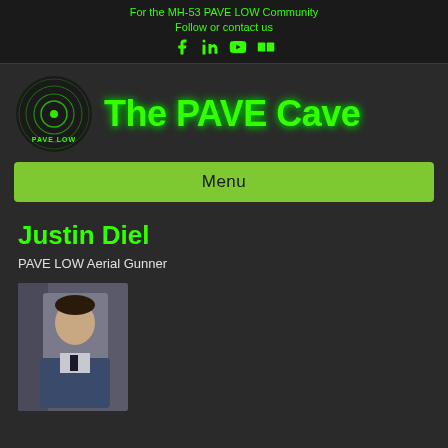For the MH-53 PAVE LOW Community
Follow or contact us
[Figure (other): Social media icons: Facebook, LinkedIn, YouTube, Flickr]
[Figure (logo): PAVE LOW circular logo with green radar/signal rings and text PAVE LOW]
The PAVE Cave
Menu
Justin Diel
PAVE LOW Aerial Gunner
[Figure (photo): Portrait photo of Justin Diel in military dress uniform with American flag in background]